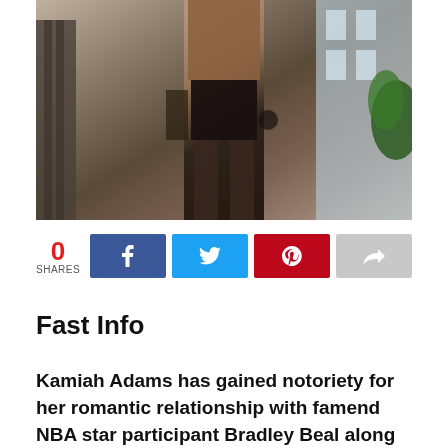[Figure (photo): A woman in a brown mesh top and black leather shorts standing outdoors in front of a building]
0
SHARES
Fast Info
Kamiah Adams has gained notoriety for her romantic relationship with famend NBA star participant Bradley Beal along